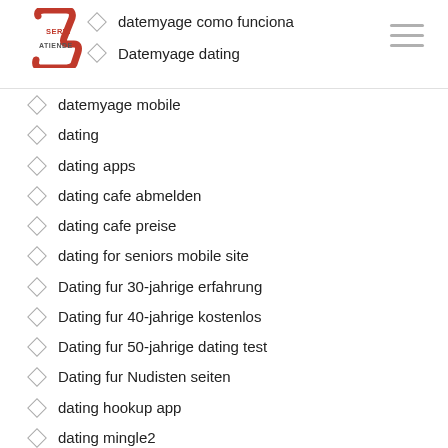SERVIATIENDE
datemyage como funciona
Datemyage dating
datemyage mobile
dating
dating apps
dating cafe abmelden
dating cafe preise
dating for seniors mobile site
Dating fur 30-jahrige erfahrung
Dating fur 40-jahrige kostenlos
Dating fur 50-jahrige dating test
Dating fur Nudisten seiten
dating hookup app
dating mingle2
Dating Over 60 username
Dating Seeking Arrangement
dating site
Dating Site With Best Results